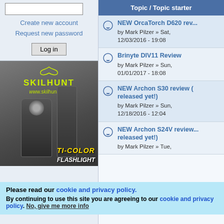Create new account
Request new password
Log in
[Figure (photo): Skilhunt flashlight advertisement showing two tactical flashlights against a dark background with yellow Skilhunt logo and www.skilhunt.com URL, with 'TI-COLOR FLASHLIGHT' text]
Topic / Topic starter
NEW OrcaTorch D620 rev... by Mark Pilzer » Sat, 12/03/2016 - 19:08
Brinyte DIV11 Review by Mark Pilzer » Sun, 01/01/2017 - 18:08
NEW Archon S30 review (... released yet!) by Mark Pilzer » Sun, 12/18/2016 - 12:04
NEW Archon S24V review... released yet!) by Mark Pilzer » Tue,
Please read our cookie and privacy policy. By continuing to use this site you are agreeing to our cookie and privacy policy. No, give me more info